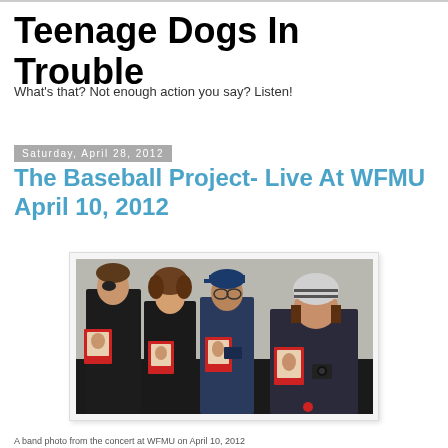Teenage Dogs In Trouble
What's that? Not enough action you say? Listen!
Saturday, April 28, 2012
The Baseball Project- Live At WFMU April 10, 2012
[Figure (photo): Four people standing side by side in dark clothing, each holding up a small baseball card in front of their face. One person wears an eye patch, one wears a blue cap, one wears glasses, and one wears a striped beanie hat.]
A band photo from the concert at WFMU on April 10, 2012